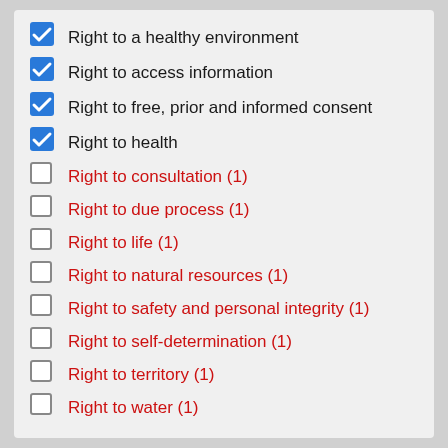Right to a healthy environment
Right to access information
Right to free, prior and informed consent
Right to health
Right to consultation (1)
Right to due process (1)
Right to life (1)
Right to natural resources (1)
Right to safety and personal integrity (1)
Right to self-determination (1)
Right to territory (1)
Right to water (1)
Filter by jurisdiction / jurisdicción: